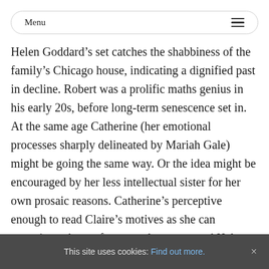Menu
Helen Goddard’s set catches the shabbiness of the family’s Chicago house, indicating a dignified past in decline. Robert was a prolific maths genius in his early 20s, before long-term senescence set in. At the same age Catherine (her emotional processes sharply delineated by Mariah Gale) might be going the same way. Or the idea might be encouraged by her less intellectual sister for her own prosaic reasons. Catherine’s perceptive enough to read Claire’s motives as she can sometimes those of apparently enamoured Hal (Jamie Parker the smiling, genuine-seeming ex-
This site uses cookies: Find out more. ×